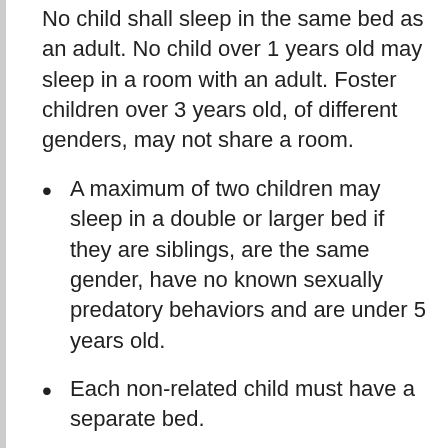No child shall sleep in the same bed as an adult. No child over 1 years old may sleep in a room with an adult. Foster children over 3 years old, of different genders, may not share a room.
A maximum of two children may sleep in a double or larger bed if they are siblings, are the same gender, have no known sexually predatory behaviors and are under 5 years old.
Each non-related child must have a separate bed.
Keep hazardous items (cleaning supplies, medications, firearms, knives, alcohol, etc.) in a place inaccessible to children.
Have functional smoke alarms on each level of the home and at least one fire